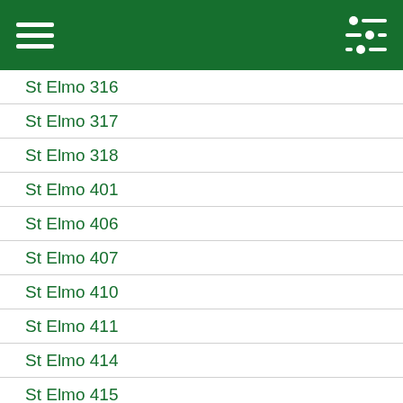Navigation header with hamburger menu and filter icon
St Elmo 316
St Elmo 317
St Elmo 318
St Elmo 401
St Elmo 406
St Elmo 407
St Elmo 410
St Elmo 411
St Elmo 414
St Elmo 415